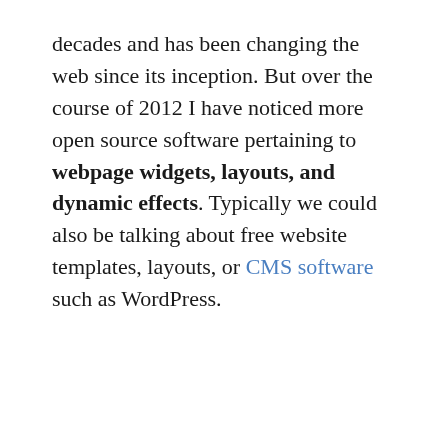decades and has been changing the web since its inception. But over the course of 2012 I have noticed more open source software pertaining to webpage widgets, layouts, and dynamic effects. Typically we could also be talking about free website templates, layouts, or CMS software such as WordPress.